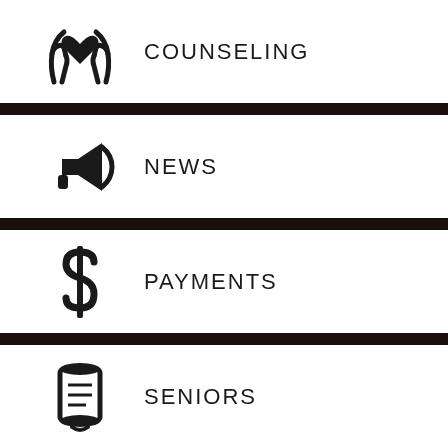[Figure (illustration): Icon of hands raised up cradling a heart, representing counseling]
COUNSELING
[Figure (illustration): Icon of a megaphone/bullhorn, representing news]
NEWS
[Figure (illustration): Icon of a dollar sign, representing payments]
PAYMENTS
[Figure (illustration): Icon of a diploma/scroll, representing seniors]
SENIORS